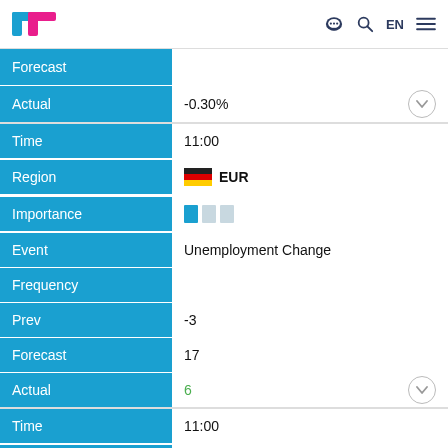TradingEconomics - EN
| Field | Value |
| --- | --- |
| Forecast |  |
| Actual | -0.30% |
| Time | 11:00 |
| Region | EUR |
| Importance | 1 of 3 bars |
| Event | Unemployment Change |
| Frequency |  |
| Prev | -3 |
| Forecast | 17 |
| Actual | 6 |
| Time | 11:00 |
| Region | EUR |